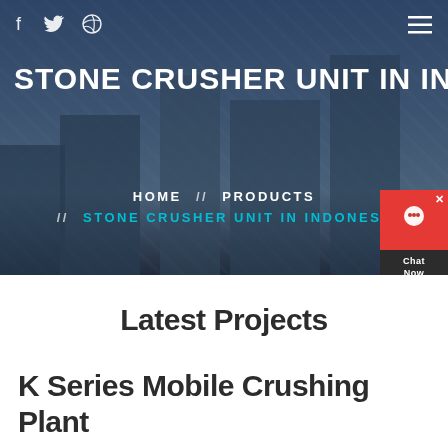f  [twitter icon]  [dribbble icon]  [hamburger menu]
STONE CRUSHER UNIT IN INDO
HOME // PRODUCTS // STONE CRUSHER UNIT IN INDONESIA
Latest Projects
K Series Mobile Crushing Plant